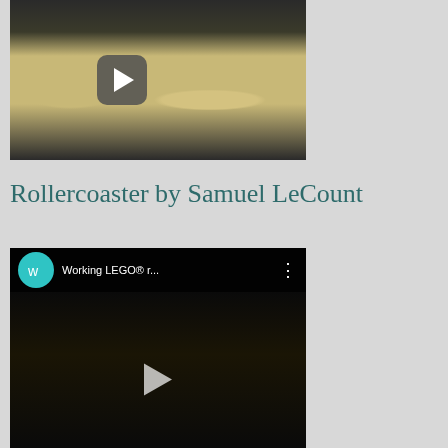[Figure (screenshot): A YouTube-style video thumbnail showing a LEGO display table with various LEGO space/city models on a sand-colored surface, with a play button overlay in the center.]
Rollercoaster by Samuel LeCount
[Figure (screenshot): A YouTube video embed showing 'Working LEGO® r...' with a teal YouTube channel icon, three-dot menu, and a dark video frame showing a LEGO rollercoaster with a play button overlay.]